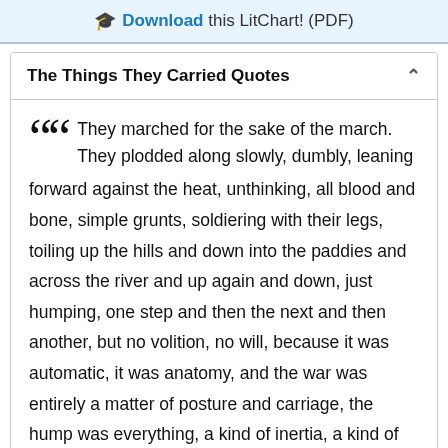Download this LitChart! (PDF)
The Things They Carried Quotes
They marched for the sake of the march. They plodded along slowly, dumbly, leaning forward against the heat, unthinking, all blood and bone, simple grunts, soldiering with their legs, toiling up the hills and down into the paddies and across the river and up again and down, just humping, one step and then the next and then another, but no volition, no will, because it was automatic, it was anatomy, and the war was entirely a matter of posture and carriage, the hump was everything, a kind of inertia, a kind of emptiness, a dullness of desire and intellect and conscience and hope and human sensibility,